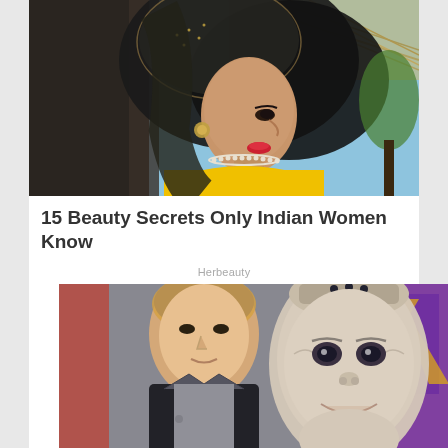[Figure (photo): Indian woman in profile view wearing a black embroidered dupatta/veil over her head, yellow outfit, pearl necklace, large earring, red lipstick, against a light blue sky background]
15 Beauty Secrets Only Indian Women Know
Herbeauty
[Figure (photo): A man in a dark jacket standing next to a humanoid robot (Sophia the robot) in a foreground close-up, with a colorful background featuring what appears to be event signage]